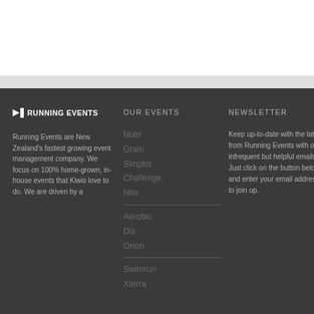RUNNING EVENTS
OUR EVENTS
NEWSLETTER
Running Events are New Zealand's fastest growing event management company. We focus on 100% home-grown, in-house events that Kiwis love to do. We are driven by a
Keep up-to-date with the latest from Running Events with our infrequent but helpful emails. Just click on the button below and enter your email address to join up.